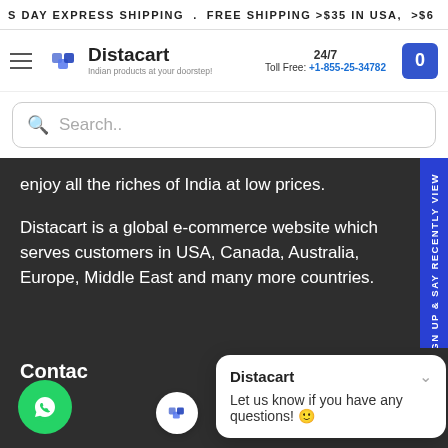S DAY EXPRESS SHIPPING . FREE SHIPPING >$35 IN USA, >$6
[Figure (logo): Distacart logo with tagline 'Indian products at your doorstep']
24/7 Toll Free: +1-855-25-34782
Search..
enjoy all the riches of India at low prices.
Distacart is a global e-commerce website which serves customers in USA, Canada, Australia, Europe, Middle East and many more countries.
Contac
Distacart
Let us know if you have any questions! 😊